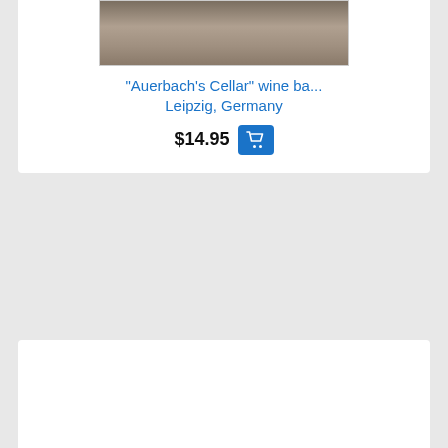[Figure (photo): Vintage postcard photo of Auerbach's Cellar wine bar interior, Leipzig, Germany]
"Auerbach's Cellar" wine ba...
Leipzig, Germany
$14.95
[Figure (photo): Vintage postcard photo of Burg Hohenzollern restaurant building facade with trees, Bremen, Germany]
"Burg Hohenzollern" restaur...
Bremen, Germany
Sold